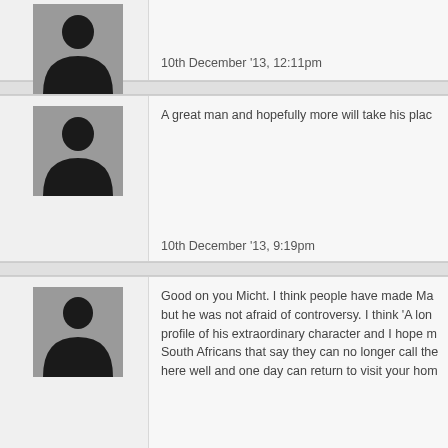[Figure (illustration): Default user avatar silhouette placeholder image (grey background with black human silhouette)]
10th December '13, 12:11pm
[Figure (illustration): Default user avatar silhouette placeholder image (grey background with black human silhouette)]
A great man and hopefully more will take his place
10th December '13, 9:19pm
[Figure (illustration): Default user avatar silhouette placeholder image (grey background with black human silhouette)]
Good on you Micht. I think people have made Ma but he was not afraid of controversy. I think 'A lon profile of his extraordinary character and I hope m South Africans that say they can no longer call the here well and one day can return to visit your hom
11th December '13, 3:23pm